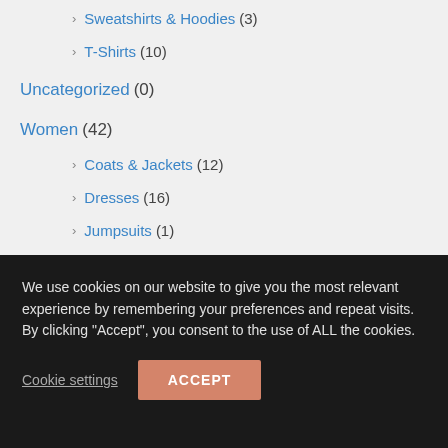Sweatshirts & Hoodies (3)
T-Shirts (10)
Uncategorized (0)
Women (42)
Coats & Jackets (12)
Dresses (16)
Jumpsuits (1)
Shorts (3)
Skirts (2)
We use cookies on our website to give you the most relevant experience by remembering your preferences and repeat visits. By clicking “Accept”, you consent to the use of ALL the cookies.
Cookie settings | ACCEPT